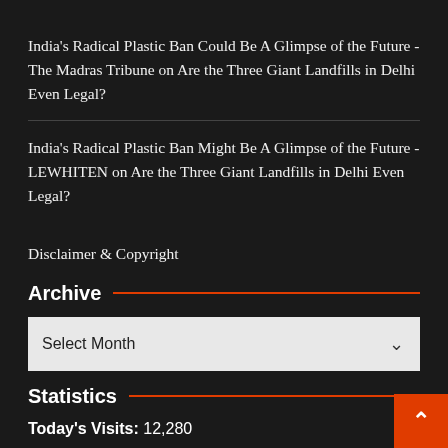India's Radical Plastic Ban Could Be A Glimpse of the Future - The Madras Tribune on Are the Three Giant Landfills in Delhi Even Legal?
India's Radical Plastic Ban Might Be A Glimpse of the Future - LEWHITEN on Are the Three Giant Landfills in Delhi Even Legal?
Disclaimer & Copyright
Archive
Select Month
Statistics
Today's Visits: 12,280